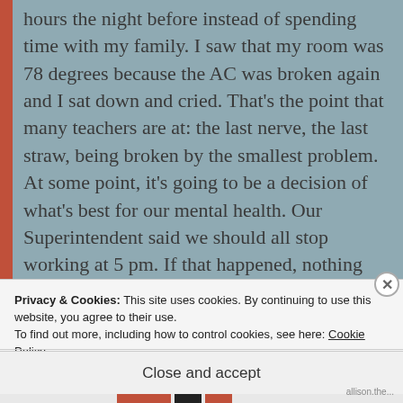…realized in this past Friday after grading from 10 hours the night before instead of spending time with my family. I saw that my room was 78 degrees because the AC was broken again and I sat down and cried. That's the point that many teachers are at: the last nerve, the last straw, being broken by the smallest problem. At some point, it's going to be a decision of what's best for our mental health. Our Superintendent said we should all stop working at 5 pm. If that happened, nothing would get done and who would suffer? The students. That goes against the whole core reason
Privacy & Cookies: This site uses cookies. By continuing to use this website, you agree to their use. To find out more, including how to control cookies, see here: Cookie Policy
Close and accept